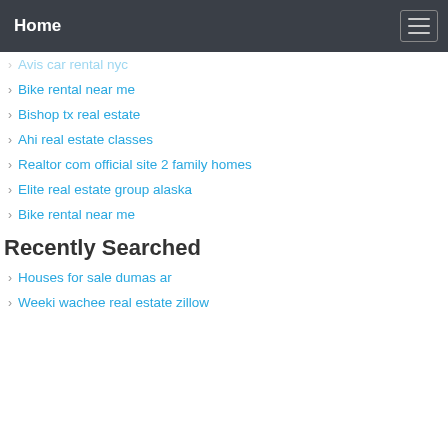Home
Avis car rental nyc
Bike rental near me
Bishop tx real estate
Ahi real estate classes
Realtor com official site 2 family homes
Elite real estate group alaska
Bike rental near me
Recently Searched
Houses for sale dumas ar
Weeki wachee real estate zillow